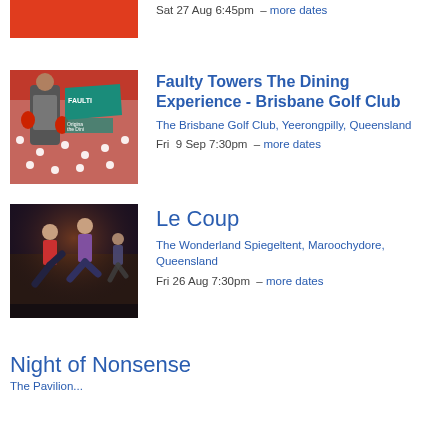[Figure (photo): Partial red image cropped at top of page]
Sat 27 Aug 6:45pm  – more dates
[Figure (photo): Faulty Towers The Dining Experience promotional image with actor and logo]
Faulty Towers The Dining Experience - Brisbane Golf Club
The Brisbane Golf Club, Yeerongpilly, Queensland
Fri  9 Sep 7:30pm  – more dates
[Figure (photo): Le Coup dance performance photo with performers on stage]
Le Coup
The Wonderland Spiegeltent, Maroochydore, Queensland
Fri 26 Aug 7:30pm  – more dates
Night of Nonsense
The Pavilion...